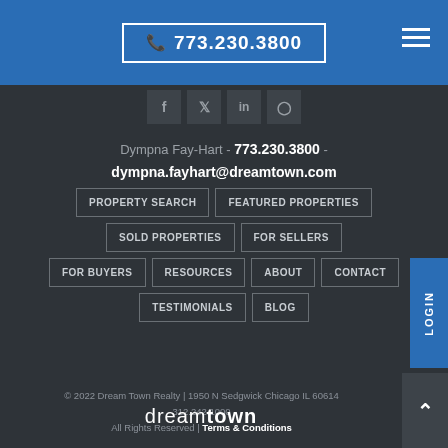773.230.3800
[Figure (other): Social media icons row: Facebook, Twitter, LinkedIn, Instagram]
Dympna Fay-Hart - 773.230.3800 - dympna.fayhart@dreamtown.com
PROPERTY SEARCH
FEATURED PROPERTIES
SOLD PROPERTIES
FOR SELLERS
FOR BUYERS
RESOURCES
ABOUT
CONTACT
TESTIMONIALS
BLOG
© 2022 Dream Town Realty | 1950 N Sedgwick Chicago IL 60614 312.242.1000 All Rights Reserved | Terms & Conditions
[Figure (logo): dreamtown logo in white text]